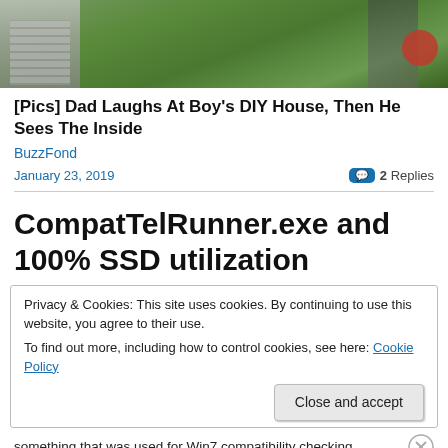[Figure (photo): Partial outdoor photo showing grass, a wooden structure/deck, a ladder on the left, and a red potted plant on the right.]
[Pics] Dad Laughs At Boy's DIY House, Then He Sees The Inside
BuzzFond
January 23, 2019   2 Replies
CompatTelRunner.exe and 100% SSD utilization
Privacy & Cookies: This site uses cookies. By continuing to use this website, you agree to their use.
To find out more, including how to control cookies, see here: Cookie Policy
Close and accept
something that was used for Win7 compatibility checking